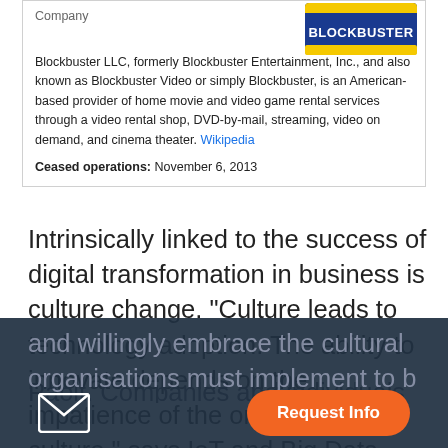Company
[Figure (logo): Blockbuster video store logo — blue and yellow rectangular logo with 'Blockbuster' text]
Blockbuster LLC, formerly Blockbuster Entertainment, Inc., and also known as Blockbuster Video or simply Blockbuster, is an American-based provider of home movie and video game rental services through a video rental shop, DVD-by-mail, streaming, video on demand, and cinema theater. Wikipedia
Ceased operations: November 6, 2013
Intrinsically linked to the success of digital transformation in business is culture change. “Culture leads to technology adoption. The ability to innovate depends on the impatience of the organisational culture,” says IoT and Big Data evangelist Sandeep Paolt. Companies and individuals have to understand and willingly embrace the cultural change organisations must implement to b